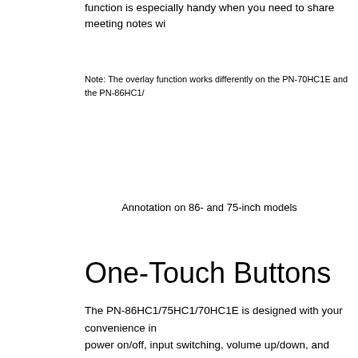function is especially handy when you need to share meeting notes wi
Note: The overlay function works differently on the PN-70HC1E and the PN-86HC1/
Annotation on 86- and 75-inch models
One-Touch Buttons
The PN-86HC1/75HC1/70HC1E is designed with your convenience in mind. Functions like power on/off, input switching, volume up/down, and freeze are neatly a